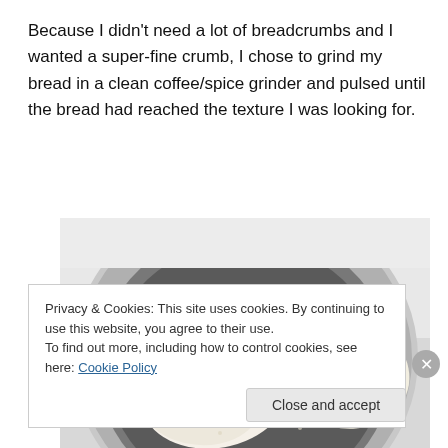Because I didn't need a lot of breadcrumbs and I wanted a super-fine crumb, I chose to grind my bread in a clean coffee/spice grinder and pulsed until the bread had reached the texture I was looking for.
[Figure (photo): Top-down view of bread pieces inside a round metal coffee/spice grinder bowl, showing white bread and brown crust pieces against a light gray background.]
Privacy & Cookies: This site uses cookies. By continuing to use this website, you agree to their use.
To find out more, including how to control cookies, see here: Cookie Policy
Close and accept